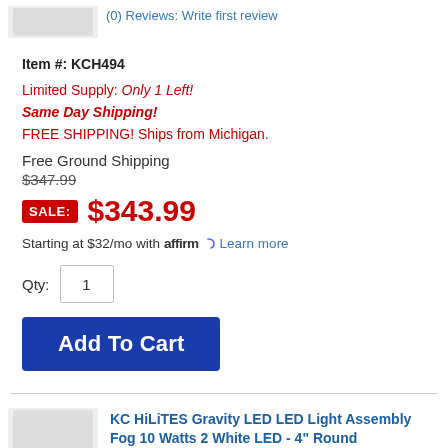(0) Reviews: Write first review
Item #: KCH494
Limited Supply: Only 1 Left!
Same Day Shipping!
FREE SHIPPING! Ships from Michigan.
Free Ground Shipping
$347.99
SALE: $343.99
Starting at $32/mo with affirm. Learn more
Qty: 1
Add To Cart
KC HiLiTES Gravity LED LED Light Assembly Fog 10 Watts 2 White LED - 4" Round